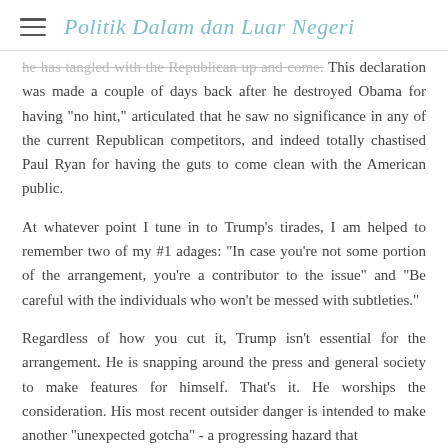Politik Dalam dan Luar Negeri
he has tangled with the Republican up and come. This declaration was made a couple of days back after he destroyed Obama for having "no hint," articulated that he saw no significance in any of the current Republican competitors, and indeed totally chastised Paul Ryan for having the guts to come clean with the American public.
At whatever point I tune in to Trump's tirades, I am helped to remember two of my #1 adages: "In case you're not some portion of the arrangement, you're a contributor to the issue" and "Be careful with the individuals who won't be messed with subtleties."
Regardless of how you cut it, Trump isn't essential for the arrangement. He is snapping around the press and general society to make features for himself. That's it. He worships the consideration. His most recent outsider danger is intended to make another "unexpected gotcha" - a progressing hazard that